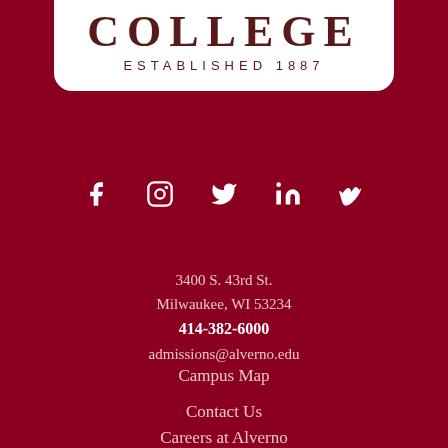[Figure (logo): Alverno College logo with text COLLEGE ESTABLISHED 1887 in dark red on white background]
[Figure (infographic): Social media icons row: Facebook (f), Instagram, Twitter, LinkedIn (in), Vimeo (V) in white on dark red background]
3400 S. 43rd St.
Milwaukee, WI 53234
414-382-6000
admissions@alverno.edu
Campus Map
Contact Us
Careers at Alverno